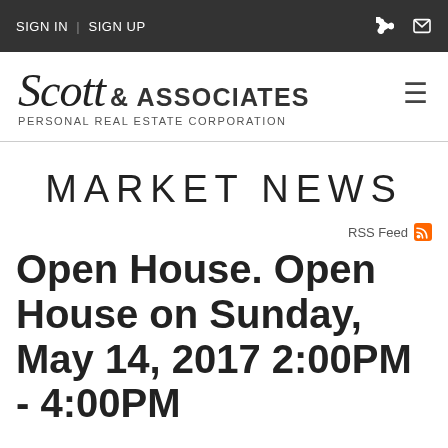SIGN IN | SIGN UP
[Figure (logo): Scott & Associates Personal Real Estate Corporation logo with hamburger menu icon]
MARKET NEWS
RSS Feed
Open House. Open House on Sunday, May 14, 2017 2:00PM - 4:00PM